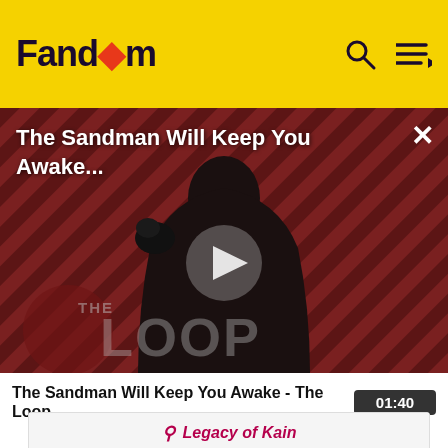Fandom
[Figure (screenshot): Video thumbnail showing The Sandman Will Keep You Awake - The Loop, with a dark figure against diagonal red and black striped background, play button in center, THE LOOP watermark text, and a close (X) button in the top right.]
The Sandman Will Keep You Awake - The Loop  01:40
| Legacy of Kain |
| Cancelled games | Legacy of Kain: The Dark Prophecy, Legacy of Kain... |